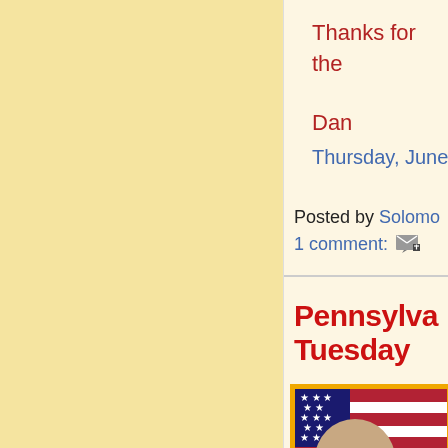Thanks for the
Dan
Thursday, June
Posted by Solomon
1 comment:
Pennsylvania Tuesday
[Figure (photo): Photo of a person in front of an American flag, shown in a gold-bordered frame]